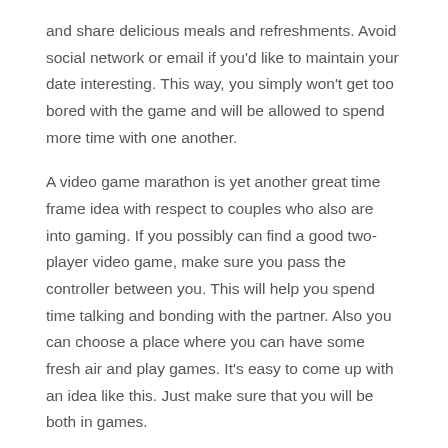and share delicious meals and refreshments. Avoid social network or email if you'd like to maintain your date interesting. This way, you simply won't get too bored with the game and will be allowed to spend more time with one another.
A video game marathon is yet another great time frame idea with respect to couples who also are into gaming. If you possibly can find a good two-player video game, make sure you pass the controller between you. This will help you spend time talking and bonding with the partner. Also you can choose a place where you can have some fresh air and play games. It's easy to come up with an idea like this. Just make sure that you will be both in games.
You can even visit the Creative Alliance, a historic and industrial location. While down-town Houston is known for its nightlife, you can even see fine art shows and performances. If you are a art fan, a trip to this kind of place is a superb choice. While you're there, check out one of the romantic sunset sails! You'll absolutely have a